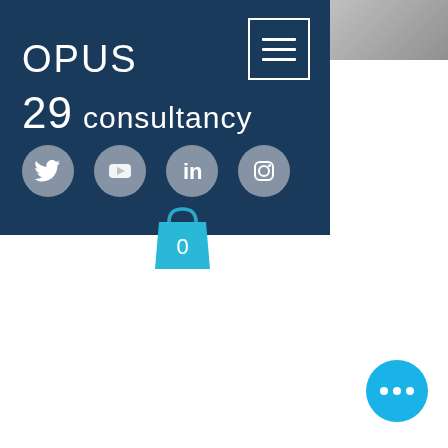[Figure (screenshot): Website header navigation panel with dark navy background showing OPUS 29 consultancy logo, hamburger menu button, social media icons (Twitter, YouTube, LinkedIn, Instagram), and a shopping bag icon with count 0]
[Figure (other): Circular blue chat/more options button with three white dots in the bottom right corner]